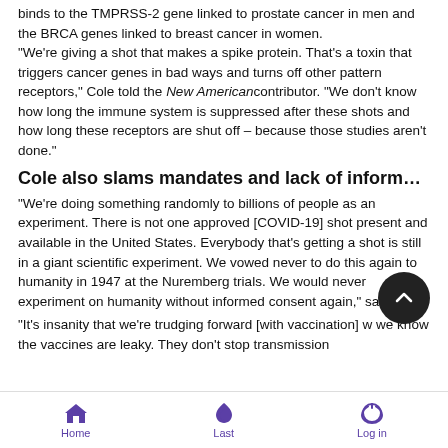binds to the TMPRSS-2 gene linked to prostate cancer in men and the BRCA genes linked to breast cancer in women. "We're giving a shot that makes a spike protein. That's a toxin that triggers cancer genes in bad ways and turns off other pattern receptors," Cole told the New American contributor. "We don't know how long the immune system is suppressed after these shots and how long these receptors are shut off – because those studies aren't done."
Cole also slams mandates and lack of inform…
"We're doing something randomly to billions of people as an experiment. There is not one approved [COVID-19] shot present and available in the United States. Everybody that's getting a shot is still in a giant scientific experiment. We vowed never to do this again to humanity in 1947 at the Nuremberg trials. We would never experiment on humanity without informed consent again," said Cole.
"It's insanity that we're trudging forward [with vaccination] when we know the vaccines are leaky. They don't stop transmission
Home   Last   Log in